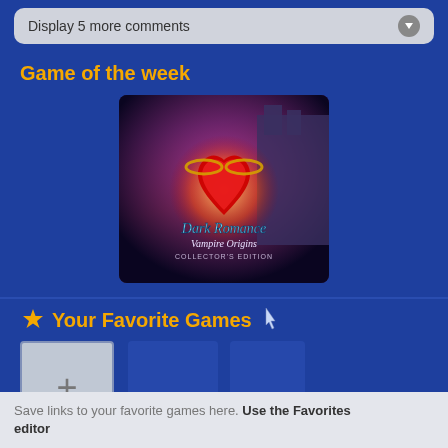Display 5 more comments
Game of the week
[Figure (illustration): Dark Romance: Vampire Origins Collector's Edition game cover art featuring a glowing red jeweled heart with chains against a fantasy castle backdrop with purple and teal atmospheric lighting]
Your Favorite Games
[Figure (other): Add favorite game button (plus sign box)]
Save links to your favorite games here. Use the Favorites editor